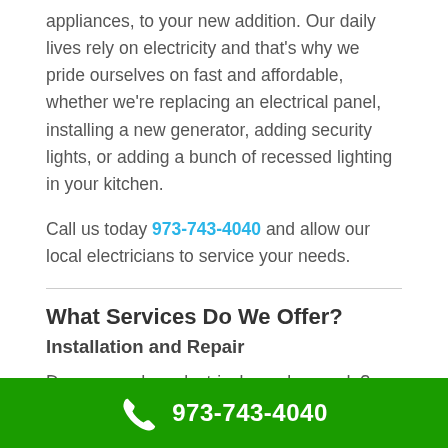appliances, to your new addition. Our daily lives rely on electricity and that's why we pride ourselves on fast and affordable, whether we're replacing an electrical panel, installing a new generator, adding security lights, or adding a bunch of recessed lighting in your kitchen.
Call us today 973-743-4040 and allow our local electricians to service your needs.
What Services Do We Offer?
Installation and Repair
Do you need an electrical panel upgrade? Recessed or pendant lighting in your kitchen? Need a new generator installed for the day the next storm blows in?
No matter what your electrical needs, our experienced team is ready to handle the job in a fast, friendly and
973-743-4040